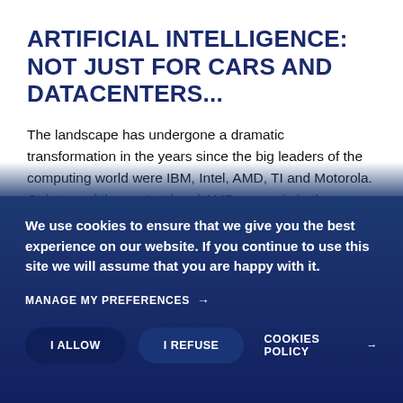ARTIFICIAL INTELLIGENCE: NOT JUST FOR CARS AND DATACENTERS...
The landscape has undergone a dramatic transformation in the years since the big leaders of the computing world were IBM, Intel, AMD, TI and Motorola. Only two of them – Intel and AMD – remain in the race, and the competition is only increasing.
We use cookies to ensure that we give you the best experience on our website. If you continue to use this site we will assume that you are happy with it.
MANAGE MY PREFERENCES →
I ALLOW | I REFUSE | COOKIES POLICY →